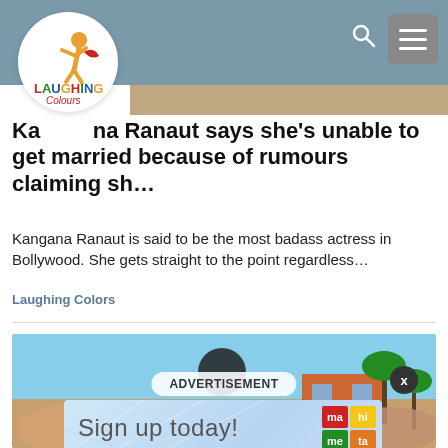Laughing Colours - website header with logo, search and menu
Kangana Ranaut says she's unable to get married because of rumours claiming sh…
Kangana Ranaut is said to be the most badass actress in Bollywood. She gets straight to the point regardless…
Laughing Colors
[Figure (screenshot): Advertisement banner overlay on a second article image showing an outdoor scene with blue sky and palm trees. Contains 'ADVERTISEMENT' pill label, an X close button, and a 'Sign up today!' ad banner with Mahiti logo grid.]